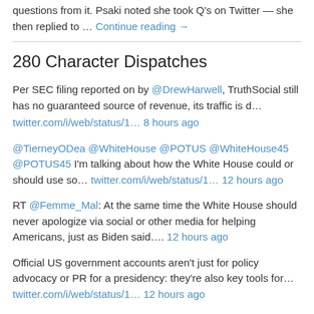questions from it. Psaki noted she took Q's on Twitter — she then replied to … Continue reading →
280 Character Dispatches
Per SEC filing reported on by @DrewHarwell, TruthSocial still has no guaranteed source of revenue, its traffic is d… twitter.com/i/web/status/1… 8 hours ago
@TierneyODea @WhiteHouse @POTUS @WhiteHouse45 @POTUS45 I'm talking about how the White House could or should use so… twitter.com/i/web/status/1… 12 hours ago
RT @Femme_Mal: At the same time the White House should never apologize via social or other media for helping Americans, just as Biden said…. 12 hours ago
Official US government accounts aren't just for policy advocacy or PR for a presidency: they're also key tools for… twitter.com/i/web/status/1… 12 hours ago